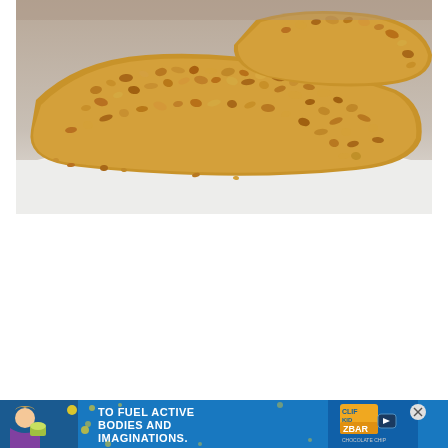[Figure (photo): Close-up photo of breaded/nut-crusted chicken or fish fillets on a white plate, showing a golden-brown crunchy coating made of crushed nuts or breadcrumbs]
[Figure (photo): Advertisement banner for Clif Kid Z-Bar showing a young girl eating a snack, with text 'TO FUEL ACTIVE BODIES AND IMAGINATIONS.' and Z-Bar product logo in blue and yellow]